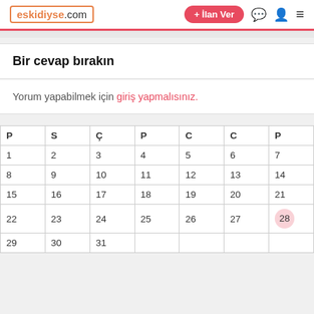eskidiyse.com  + İlan Ver
Bir cevap bırakın
Yorum yapabilmek için giriş yapmalısınız.
| P | S | Ç | P | C | C | P |
| --- | --- | --- | --- | --- | --- | --- |
| 1 | 2 | 3 | 4 | 5 | 6 | 7 |
| 8 | 9 | 10 | 11 | 12 | 13 | 14 |
| 15 | 16 | 17 | 18 | 19 | 20 | 21 |
| 22 | 23 | 24 | 25 | 26 | 27 | 28 |
| 29 | 30 | 31 |  |  |  |  |